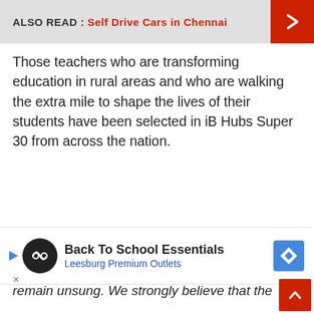ALSO READ : Self Drive Cars in Chennai
Those teachers who are transforming education in rural areas and who are walking the extra mile to shape the lives of their students have been selected in iB Hubs Super 30 from across the nation.
“India is full of amazing teachers who relentlessly work towards nurturing the students and developing the country. Often, their stories remain unsung. We strongly believe that the valuable contributions of teachers who build the nation...
[Figure (infographic): Advertisement banner: Back To School Essentials - Leesburg Premium Outlets with logo and navigation icon]